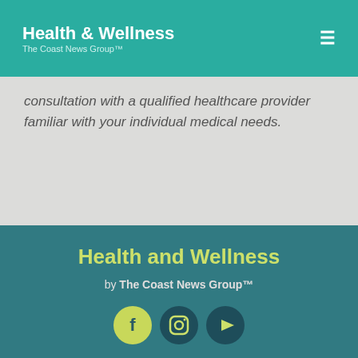Health & Wellness — The Coast News Group™
consultation with a qualified healthcare provider familiar with your individual medical needs.
Health and Wellness
by The Coast News Group™
[Figure (other): Three social media icons: Facebook, Instagram, YouTube in circular buttons]